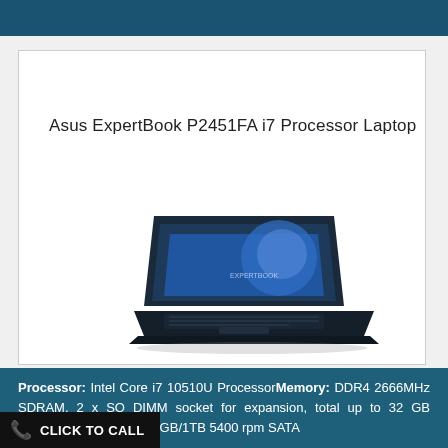Asus ExpertBook P2451FA i7 Processor Laptop
[Figure (photo): Asus ExpertBook P2451FA laptop shown from a slight angle, open, with a dark navy blue lid and keyboard chassis. The screen shows a blue gradient background with the ASUS logo.]
Processor: Intel Core i7 10510U ProcessorMemory: DDR4 2666MHz SDRAM, 2 x SO DIMM socket for expansion, total up to 32 GB SDRAM, Dual drive: 500GB/1TB 5400 rpm SATA